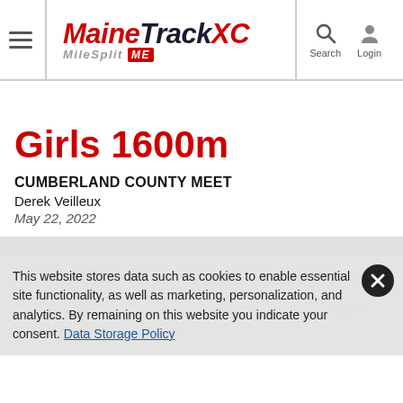MaineTrackXC MileSplit ME — Search, Login
Girls 1600m
CUMBERLAND COUNTY MEET
Derek Veilleux
May 22, 2022
This website stores data such as cookies to enable essential site functionality, as well as marketing, personalization, and analytics. By remaining on this website you indicate your consent. Data Storage Policy